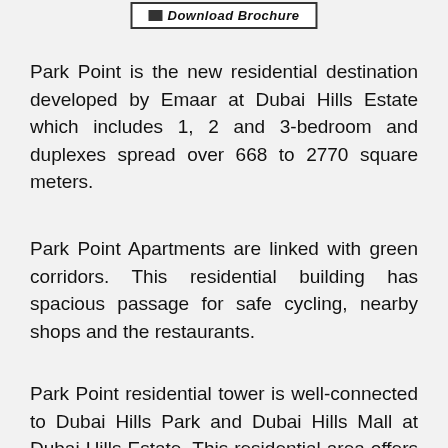[Figure (other): Download Brochure button with icon]
Park Point is the new residential destination developed by Emaar at Dubai Hills Estate which includes 1, 2 and 3-bedroom and duplexes spread over 668 to 2770 square meters.
Park Point Apartments are linked with green corridors. This residential building has spacious passage for safe cycling, nearby shops and the restaurants.
Park Point residential tower is well-connected to Dubai Hills Park and Dubai Hills Mall at Dubai Hills Estate. This residential area offers only few